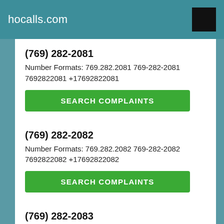hocalls.com
(769) 282-2081
Number Formats: 769.282.2081 769-282-2081 7692822081 +17692822081
SEARCH COMPLAINTS
(769) 282-2082
Number Formats: 769.282.2082 769-282-2082 7692822082 +17692822082
SEARCH COMPLAINTS
(769) 282-2083
Number Formats: 769.282.2083 769-282-2083 7692822083 +17692822083
SEARCH COMPLAINTS